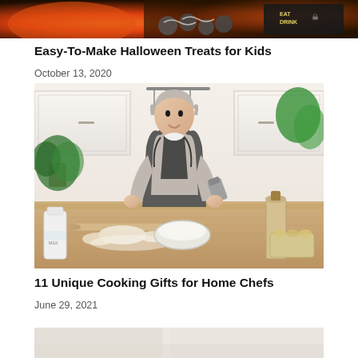[Figure (photo): Halloween treats food photo cropped at top — orange and dark themed food spread with candy and decorations]
Easy-To-Make Halloween Treats for Kids
October 13, 2020
[Figure (photo): Woman with grey hair wearing a black apron, smiling and cooking in a bright white kitchen, pouring from a container into a bowl, with dough, eggs, rolling pin, and flour on the wooden counter]
11 Unique Cooking Gifts for Home Chefs
June 29, 2021
[Figure (photo): Partial photo visible at bottom of page, light/white toned kitchen or food image, cropped]